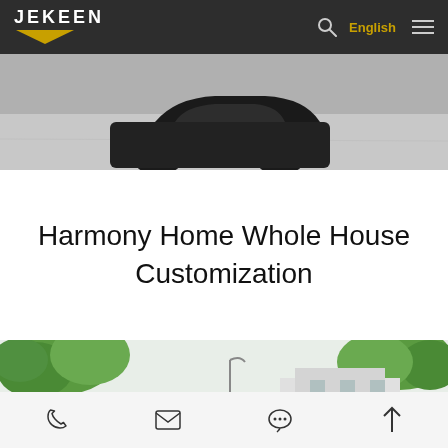JEKEEN | English
[Figure (photo): Partial view of a car on a road, grey asphalt surface visible]
Harmony Home Whole House Customization
[Figure (photo): Outdoor scene with green trees and a white building structure in background]
Phone | Email | Chat | Scroll to top